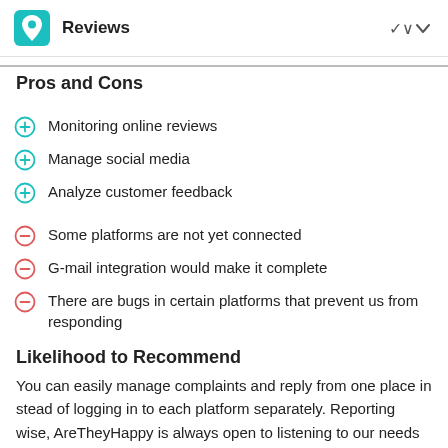Reviews
Pros and Cons
Monitoring online reviews
Manage social media
Analyze customer feedback
Some platforms are not yet connected
G-mail integration would make it complete
There are bugs in certain platforms that prevent us from responding
Likelihood to Recommend
You can easily manage complaints and reply from one place in stead of logging in to each platform separately. Reporting wise, AreTheyHappy is always open to listening to our needs and try to implement them as fast as